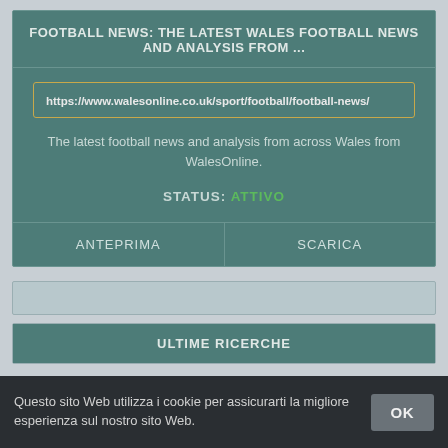FOOTBALL NEWS: THE LATEST WALES FOOTBALL NEWS AND ANALYSIS FROM ...
https://www.walesonline.co.uk/sport/football/football-news/
The latest football news and analysis from across Wales from WalesOnline.
STATUS: ATTIVO
ANTEPRIMA
SCARICA
ULTIME RICERCHE
Questo sito Web utilizza i cookie per assicurarti la migliore esperienza sul nostro sito Web.
OK